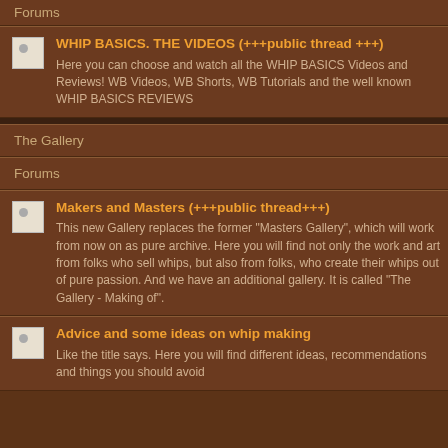Forums
WHIP BASICS. THE VIDEOS (+++public thread +++)
Here you can choose and watch all the WHIP BASICS Videos and Reviews! WB Videos, WB Shorts, WB Tutorials and the well known WHIP BASICS REVIEWS
The Gallery
Forums
Makers and Masters (+++public thread+++)
This new Gallery replaces the former "Masters Gallery", which will work from now on as pure archive. Here you will find not only the work and art from folks who sell whips, but also from folks, who create their whips out of pure passion. And we have an additional gallery. It is called "The Gallery - Making of".
Advice and some ideas on whip making
Like the title says. Here you will find different ideas, recommendations and things you should avoid